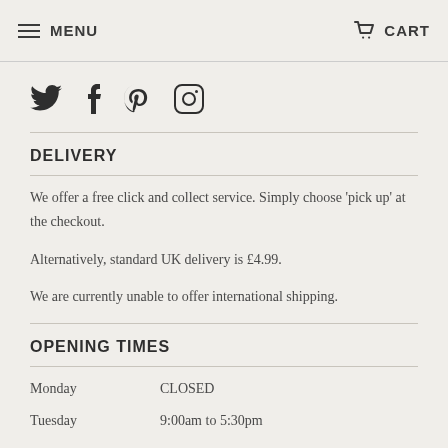MENU  CART
[Figure (illustration): Social media icons: Twitter bird, Facebook f, Pinterest P, Instagram camera]
DELIVERY
We offer a free click and collect service. Simply choose 'pick up' at the checkout.

Alternatively, standard UK delivery is £4.99.

We are currently unable to offer international shipping.
OPENING TIMES
Monday    CLOSED
Tuesday    9:00am to 5:30pm